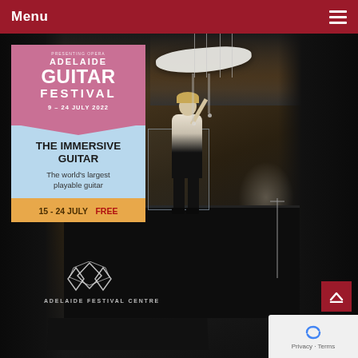Menu
[Figure (photo): Adelaide Guitar Festival promotional image showing a woman standing on a black stage platform reaching up toward a large white suspended guitar shape. She is inside a curved wooden acoustic space with black walls. An overlay card shows the Adelaide Guitar Festival branding with 'The Immersive Guitar - The world's largest playable guitar, 15-24 July FREE'. Adelaide Festival Centre logo is visible at lower left. A scroll-to-top button and reCAPTCHA Privacy/Terms badge appear at lower right.]